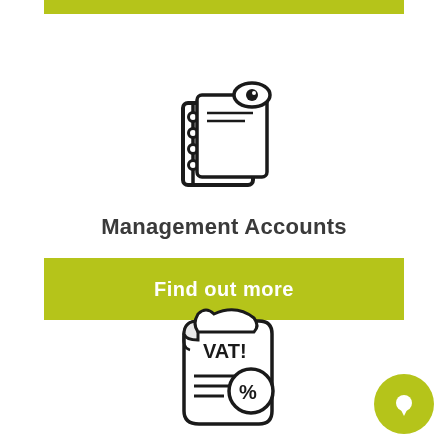[Figure (illustration): Management Accounts icon: a notebook/ledger with a pie chart and an eye symbol]
Management Accounts
[Figure (illustration): Green button labeled 'Find out more']
[Figure (illustration): VAT Returns icon: a scroll document with VAT! text and a percentage circle symbol]
VAT Returns
[Figure (illustration): Green button labeled 'Find out more']